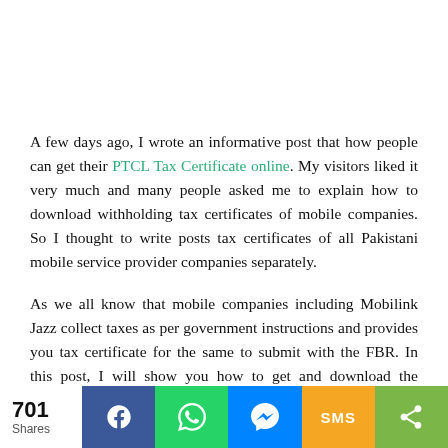A few days ago, I wrote an informative post that how people can get their PTCL Tax Certificate online. My visitors liked it very much and many people asked me to explain how to download withholding tax certificates of mobile companies. So I thought to write posts tax certificates of all Pakistani mobile service provider companies separately.
As we all know that mobile companies including Mobilink Jazz collect taxes as per government instructions and provides you tax certificate for the same to submit with the FBR. In this post, I will show you how to get and download the Mobilink Jazz tax
701 Shares | Facebook | WhatsApp | Messenger | SMS | Share